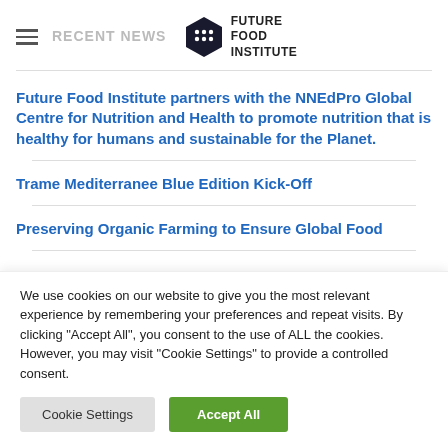RECENT NEWS — Future Food Institute
Future Food Institute partners with the NNEdPro Global Centre for Nutrition and Health to promote nutrition that is healthy for humans and sustainable for the Planet.
Trame Mediterranee Blue Edition Kick-Off
Preserving Organic Farming to Ensure Global Food
We use cookies on our website to give you the most relevant experience by remembering your preferences and repeat visits. By clicking "Accept All", you consent to the use of ALL the cookies. However, you may visit "Cookie Settings" to provide a controlled consent.